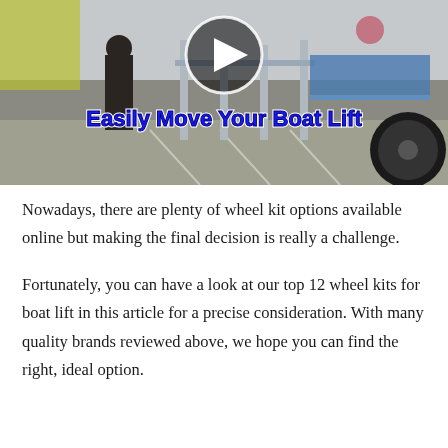[Figure (screenshot): Video thumbnail showing a boat lift with wheels on pavement, with a play button icon in the center and bold blue/white text overlay reading 'Easily Move Your Boat Lift']
Nowadays, there are plenty of wheel kit options available online but making the final decision is really a challenge.
Fortunately, you can have a look at our top 12 wheel kits for boat lift in this article for a precise consideration. With many quality brands reviewed above, we hope you can find the right, ideal option.